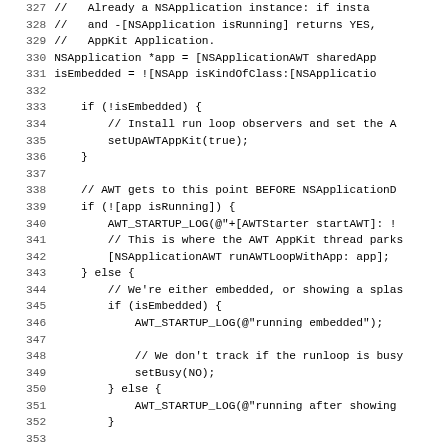Code listing lines 327-357, Objective-C source code for AWT/AppKit integration